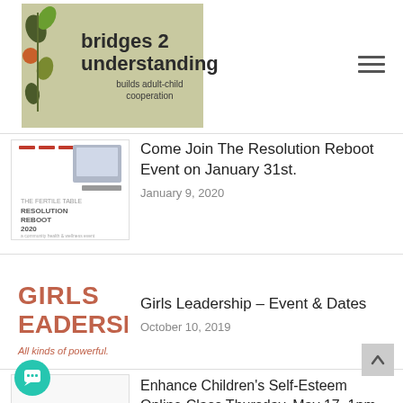[Figure (logo): Bridges 2 Understanding logo — olive/green leaf illustration with text 'bridges 2 understanding — builds adult-child cooperation' on a sage/khaki background]
Come Join The Resolution Reboot Event on January 31st.
January 9, 2020
[Figure (illustration): Girls Leadership logo — text 'GIRLS EADERSHI' in terracotta/rust block letters with tagline 'All kinds of powerful.']
Girls Leadership – Event & Dates
October 10, 2019
Enhance Children's Self-Esteem Online Class Thursday, May 17, 1pm PT
May 15, 2018